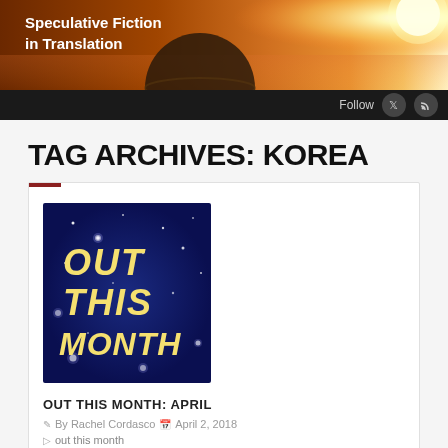Speculative Fiction in Translation
TAG ARCHIVES: KOREA
[Figure (illustration): Dark blue square image with scattered white stars and text 'OUT THIS MONTH' in large golden italic letters on a night sky background]
OUT THIS MONTH: APRIL
By Rachel Cordasco  April 2, 2018
out this month